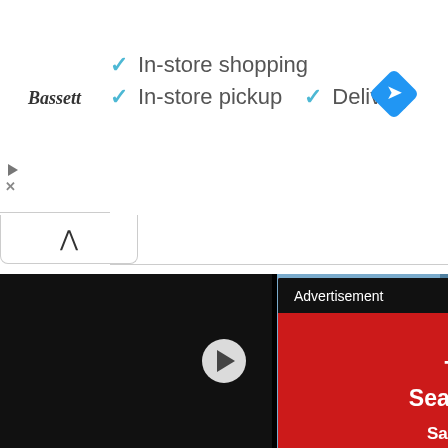[Figure (screenshot): Google ad banner for Bassett showing checkmarks for In-store shopping, In-store pickup, and Delivery, with a blue navigation diamond icon]
[Figure (screenshot): Collapse/chevron button below the ad banner]
Lucre is the main currency in Children of Mana used to purchase various items at the in-game shop, uncap character level limits in town, upgrade equipment, and avail of other services. As such, it is important to spend time farming for Lucre while going through the game.
[Figure (screenshot): Overlay advertisement popup with dark header saying 'Advertisement' and X close button, red background with text 'The Broadway Seats You're Craving' and 'Save up to 30% on tickets to your next favorite show.']
[Figure (screenshot): Video player at bottom of page showing game characters (a white goat-like creature and a smiling elf character) with a PLAYS label and play button, with close button on right]